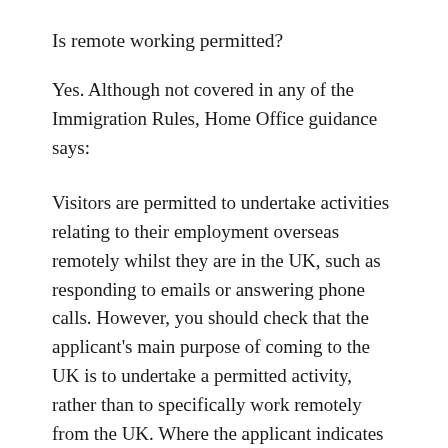Is remote working permitted?
Yes. Although not covered in any of the Immigration Rules, Home Office guidance says:
Visitors are permitted to undertake activities relating to their employment overseas remotely whilst they are in the UK, such as responding to emails or answering phone calls. However, you should check that the applicant’s main purpose of coming to the UK is to undertake a permitted activity, rather than to specifically work remotely from the UK. Where the applicant indicates that they intend to spend a large proportion of their time in the UK and will be doing some remote working, you